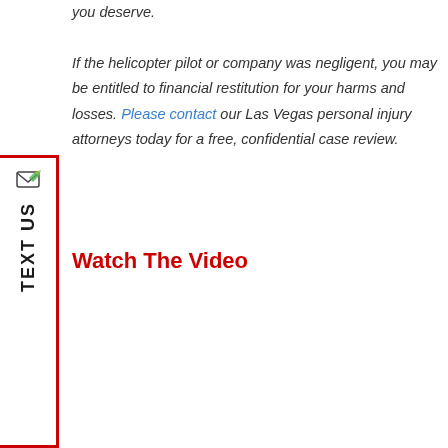you deserve. If the helicopter pilot or company was negligent, you may be entitled to financial restitution for your harms and losses. Please contact our Las Vegas personal injury attorneys today for a free, confidential case review.
[Figure (other): Vertical sidebar widget with envelope/map icon and rotated 'TEXT US' label, enclosed in a red partial border on the left side of the page]
Watch The Video